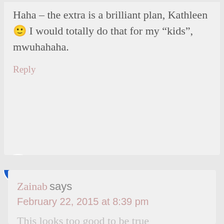Haha – the extra is a brilliant plan, Kathleen 🙂 I would totally do that for my "kids", mwuhahaha.
Reply
Zainab says
February 22, 2015 at 8:39 pm
This looks too good to be true